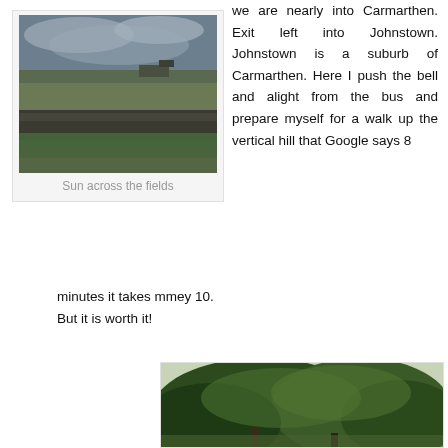[Figure (photo): Landscape photo showing fields with a stone wall hedge in the foreground, farm buildings in the distance, and a dramatic grey sky above.]
Sun across the fields
we are nearly into Carmarthen. Exit left into Johnstown. Johnstown is a suburb of Carmarthen. Here I push the bell and alight from the bus and prepare myself for a walk up the vertical hill that Google says 8 minutes it takes mmey 10. But it is worth it!
[Figure (photo): Partial view of trees with dense foliage, appears to be a landscape or garden scene.]